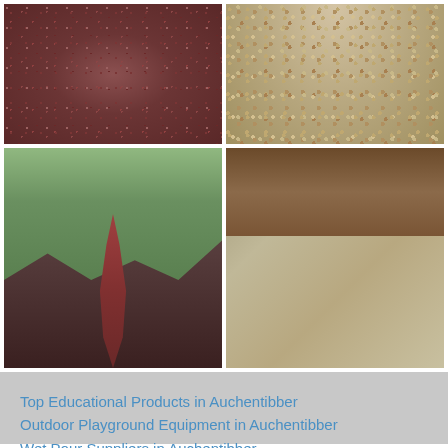[Figure (photo): Close-up of dark reddish-brown gravel or rubber surface texture]
[Figure (photo): Close-up of light beige/tan gravel or stone chip surface texture]
[Figure (photo): Winding dark red rubber pathway through green grass in a park or school playground setting]
[Figure (photo): Resin-bound driveway with wooden gate posts and a house/garage in background]
Top Educational Products in Auchentibber
Outdoor Playground Equipment in Auchentibber
Wet Pour Suppliers in Auchentibber
Icy Wetpour Surfacing in Auchentibber
Wet Pour Graphics in Auchentibber
Tennis Court Painting in Auchentibber
Daily Mile Track in Auchentibber